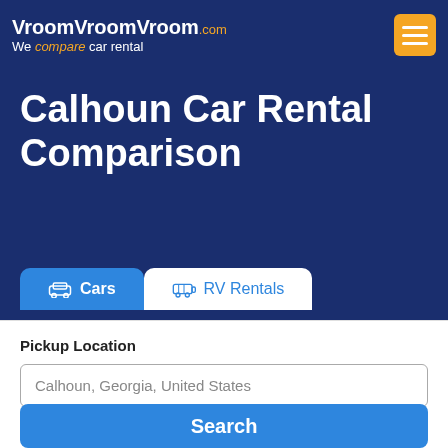VroomVroomVroom.com — We compare car rental
Calhoun Car Rental Comparison
Cars | RV Rentals
Pickup Location
Calhoun, Georgia, United States
Return to the same location
Search